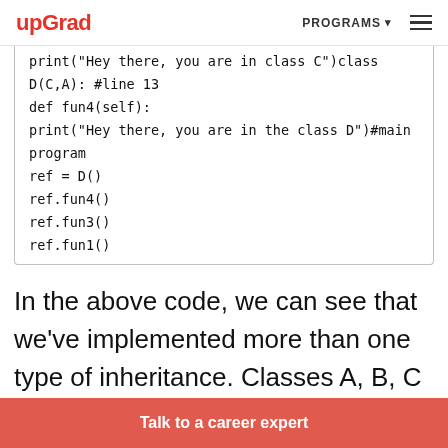upGrad | PROGRAMS
print("Hey there, you are in class C")class D(C,A): #line 13
def fun4(self):
print("Hey there, you are in the class D")#main program
ref = D()
ref.fun4()
ref.fun3()
ref.fun1()
In the above code, we can see that we've implemented more than one type of inheritance. Classes A, B, C implements hierarchical inheritance, and classes A, C, D implements
Talk to a career expert